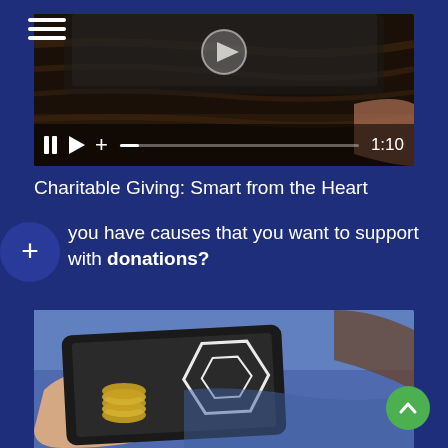[Figure (screenshot): Mobile app interface with dark blue background, hamburger menu top-left, video thumbnail showing dark wood surface with tablet, video playback controls (pause, play, plus, progress bar, time 1:10)]
Charitable Giving: Smart from the Heart
you have causes that you want to support with donations?
[Figure (photo): Hand holding a tablet showing coins and a financial logo, person wearing jeans in background. Green scroll-to-top button in bottom-right corner.]